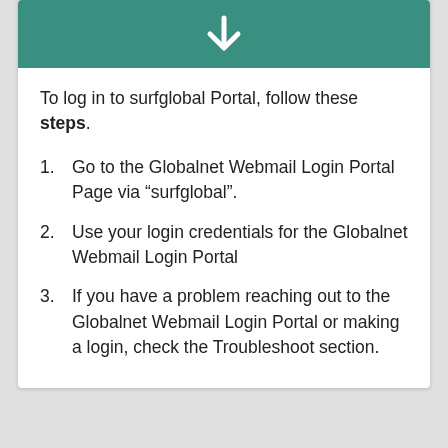[Figure (illustration): Teal/green header banner with a white downward arrow icon centered in it]
To log in to surfglobal Portal, follow these steps.
1. Go to the Globalnet Webmail Login Portal Page via “surfglobal”.
2. Use your login credentials for the Globalnet Webmail Login Portal
3. If you have a problem reaching out to the Globalnet Webmail Login Portal or making a login, check the Troubleshoot section.